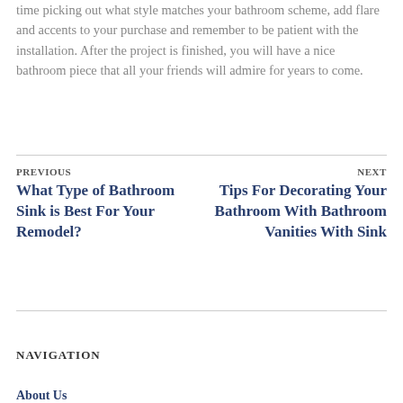time picking out what style matches your bathroom scheme, add flare and accents to your purchase and remember to be patient with the installation. After the project is finished, you will have a nice bathroom piece that all your friends will admire for years to come.
PREVIOUS
What Type of Bathroom Sink is Best For Your Remodel?
NEXT
Tips For Decorating Your Bathroom With Bathroom Vanities With Sink
NAVIGATION
About Us